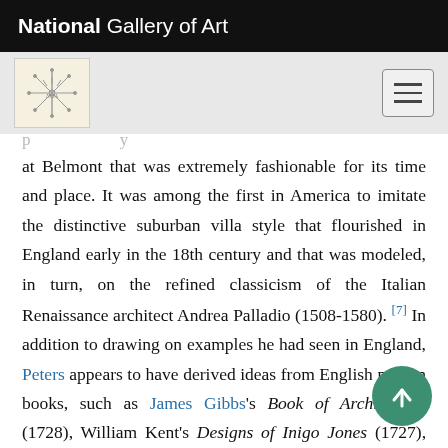National Gallery of Art
[Figure (logo): National Gallery of Art decorative logo mark, snowflake/asterisk style, on cream background]
at Belmont that was extremely fashionable for its time and place. It was among the first in America to imitate the distinctive suburban villa style that flourished in England early in the 18th century and that was modeled, in turn, on the refined classicism of the Italian Renaissance architect Andrea Palladio (1508-1580). [7] In addition to drawing on examples he had seen in England, Peters appears to have derived ideas from English pattern books, such as James Gibbs's Book of Architecture (1728), William Kent's Designs of Inigo Jones (1727), and Batty Langley's City and Country Builder's and Workman's Treasury of Designs (1740). [8] As originally executed, Belmont